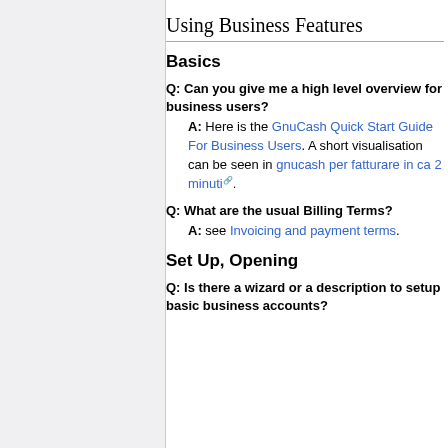Using Business Features
Basics
Q: Can you give me a high level overview for business users?
A: Here is the GnuCash Quick Start Guide For Business Users. A short visualisation can be seen in gnucash per fatturare in ca 2 minuti.
Q: What are the usual Billing Terms?
A: see Invoicing and payment terms.
Set Up, Opening
Q: Is there a wizard or a description to setup basic business accounts?